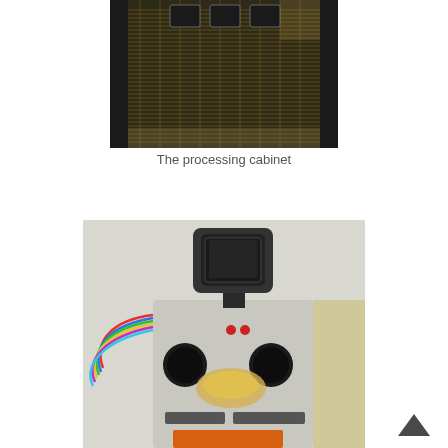[Figure (photo): Close-up photograph of the interior of a processing cabinet showing dense wiring, circuit boards, and electronic components with a dark metallic background.]
The processing cabinet
[Figure (photo): Photograph of a vintage robot or automated machine with a monitor/screen on top, two circular speaker-like elements, red indicator lights, colorful wiring hanging from the left side, and an orange display at the bottom, set against a dotted/halftone background.]